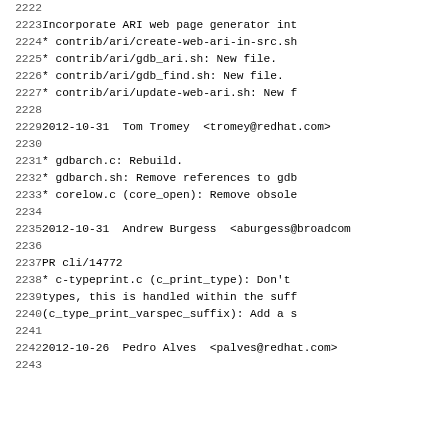2222 (empty line)
2223    Incorporate ARI web page generator int
2224    * contrib/ari/create-web-ari-in-src.sh
2225    * contrib/ari/gdb_ari.sh: New file.
2226    * contrib/ari/gdb_find.sh: New file.
2227    * contrib/ari/update-web-ari.sh: New f
2228 (empty line)
2229  2012-10-31  Tom Tromey  <tromey@redhat.com>
2230 (empty line)
2231    * gdbarch.c: Rebuild.
2232    * gdbarch.sh: Remove references to gdb
2233    * corelow.c (core_open): Remove obsole
2234 (empty line)
2235  2012-10-31  Andrew Burgess  <aburgess@broadcom
2236 (empty line)
2237    PR cli/14772
2238    * c-typeprint.c (c_print_type): Don't
2239    types, this is handled within the suff
2240    (c_type_print_varspec_suffix): Add a s
2241 (empty line)
2242  2012-10-26  Pedro Alves  <palves@redhat.com>
2243 (empty line)